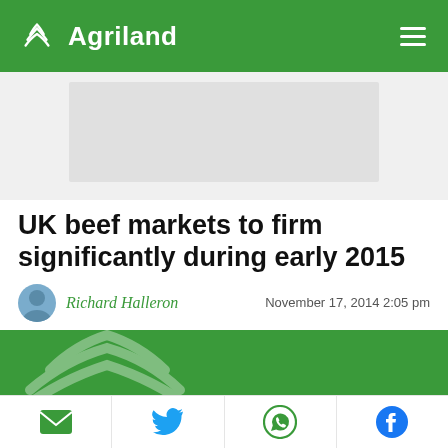Agriland
[Figure (other): Advertisement placeholder banner, grey rectangle]
UK beef markets to firm significantly during early 2015
Richard Halleron   November 17, 2014 2:05 pm
[Figure (photo): Green banner with Agriland wheat logo watermark]
UK beef prices should firm up next year amid tighter supplies, according to the latest